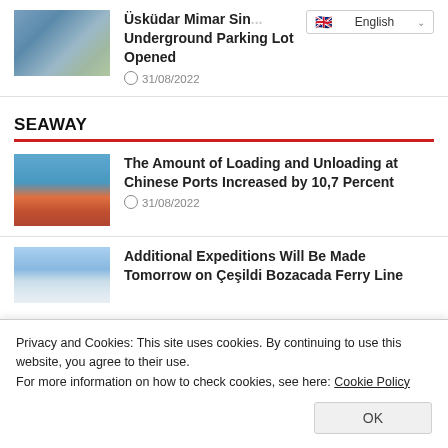[Figure (photo): Aerial view of a city district with urban buildings]
Üsküdar Mimar Sin... Underground Parking Lot Opened
31/08/2022
SEAWAY
[Figure (photo): Aerial view of a busy container port with cargo ships]
The Amount of Loading and Unloading at Chinese Ports Increased by 10,7 Percent
31/08/2022
[Figure (photo): Sky and water scene for ferry line article]
Additional Expeditions Will Be Made Tomorrow on Çeşildi Bozacada Ferry Line
Privacy and Cookies: This site uses cookies. By continuing to use this website, you agree to their use.
For more information on how to check cookies, see here: Cookie Policy